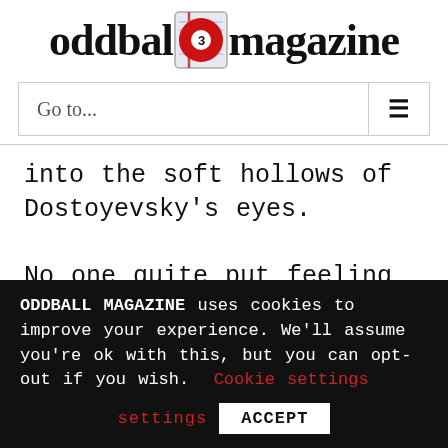[Figure (logo): Oddball Magazine logo: text 'oddball magazine' with a red billiard ball numbered 3 replacing the letter 'l' between 'oddbal' and 'magazine', above a notepad icon]
Go to...
into the soft hollows of Dostoyevsky's eyes.
No one quite put feeling in a face like you.
ODDBALL MAGAZINE uses cookies to improve your experience. We'll assume you're ok with this, but you can opt-out if you wish. Cookie settings ACCEPT